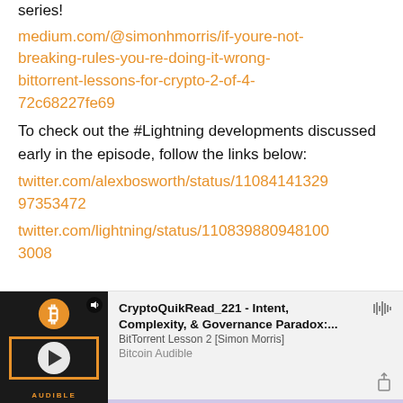series!
medium.com/@simonhmorris/if-youre-not-breaking-rules-you-re-doing-it-wrong-bittorrent-lessons-for-crypto-2-of-4-72c68227fe69
To check out the #Lightning developments discussed early in the episode, follow the links below:
twitter.com/alexbosworth/status/110841413299 7353472
twitter.com/lightning/status/1108398809481003008
[Figure (screenshot): Audio player card for 'CryptoQuikRead_221 - Intent, Complexity, & Governance Paradox:... BitTorrent Lesson 2 [Simon Morris]' by Bitcoin Audible, with play button, waveform icon, and share icon on a light gray background.]